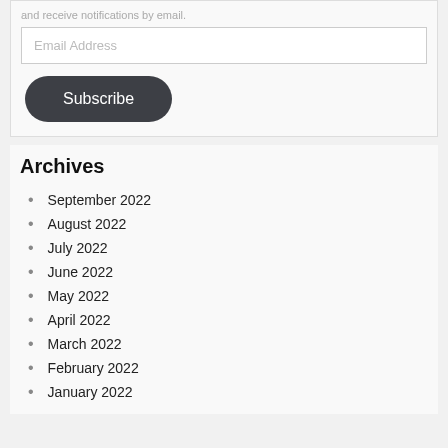and receive notifications by email.
Email Address
Subscribe
Archives
September 2022
August 2022
July 2022
June 2022
May 2022
April 2022
March 2022
February 2022
January 2022